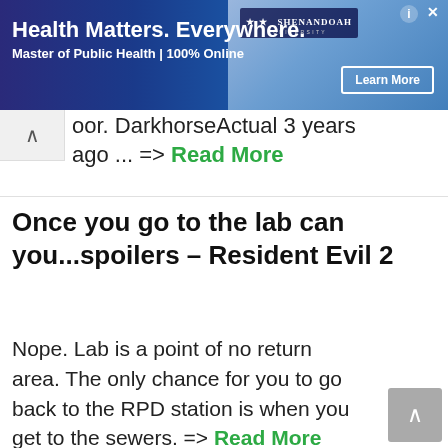[Figure (infographic): Ad banner for Shenandoah University Master of Public Health program. Text: 'Health Matters. Everywhere.' and 'Master of Public Health | 100% Online' with a 'Learn More' button.]
oor. DarkhorseActual 3 years ago ... => Read More
Once you go to the lab can you...spoilers – Resident Evil 2
Nope. Lab is a point of no return area. The only chance for you to go back to the RPD station is when you get to the sewers. => Read More